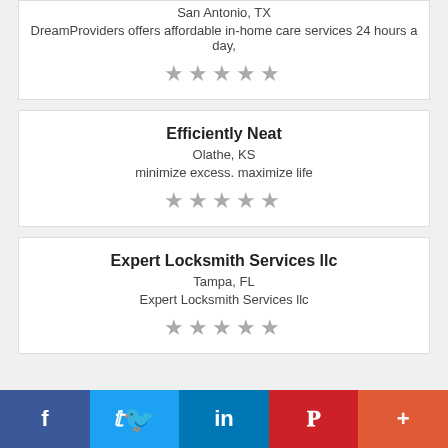San Antonio, TX
DreamProviders offers affordable in-home care services 24 hours a day,
★★★★★
Efficiently Neat
Olathe, KS
minimize excess. maximize life
★★★★★
Expert Locksmith Services llc
Tampa, FL
Expert Locksmith Services llc
★★★★★
f  Twitter  in  P  +